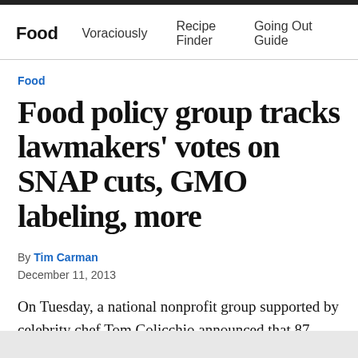Food   Voraciously   Recipe Finder   Going Out Guide
Food
Food policy group tracks lawmakers' votes on SNAP cuts, GMO labeling, more
By Tim Carman
December 11, 2013
On Tuesday, a national nonprofit group supported by celebrity chef Tom Colicchio announced that 87 members